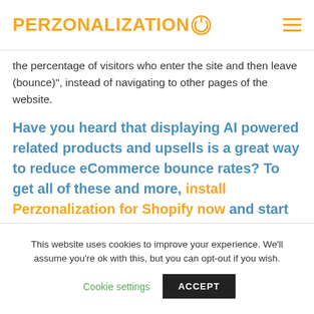PERZONALIZATION
the percentage of visitors who enter the site and then leave (bounce)", instead of navigating to other pages of the website.
Have you heard that displaying AI powered related products and upsells is a great way to reduce eCommerce bounce rates? To get all of these and more, install Perzonalization for Shopify now and start your 14 day free trial.
This website uses cookies to improve your experience. We'll assume you're ok with this, but you can opt-out if you wish. Cookie settings ACCEPT